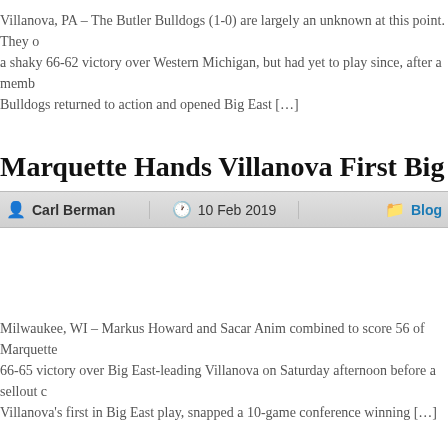Villanova, PA – The Butler Bulldogs (1-0) are largely an unknown at this point. They opened with a shaky 66-62 victory over Western Michigan, but had yet to play since, after a member... Bulldogs returned to action and opened Big East […]
Marquette Hands Villanova First Big East Lo…
Carl Berman   10 Feb 2019   Blog
Milwaukee, WI – Markus Howard and Sacar Anim combined to score 56 of Marquette… 66-65 victory over Big East-leading Villanova on Saturday afternoon before a sellout c… Villanova's first in Big East play, snapped a 10-game conference winning […]
Marquette Holds Off Seton Hall in OT
Carl Berman   10 Feb 2019   Blog